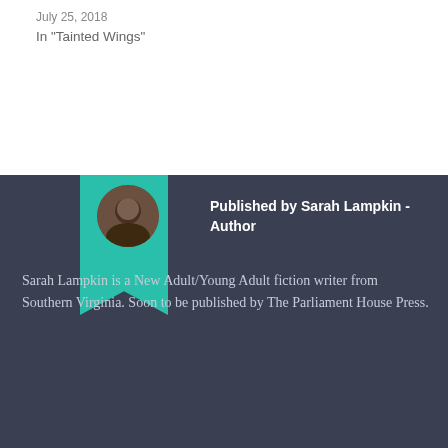In "Tainted Wings"
Published by Sarah Lampkin - Author
Sarah Lampkin is a New Adult/Young Adult fiction writer from Southern Virginia. Soon to be published by The Parliament House Press.
View all posts by Sarah Lampkin - Author
July 14, 2018
Tainted Wings, Writing
am writing, angels, angels: moon and sun,